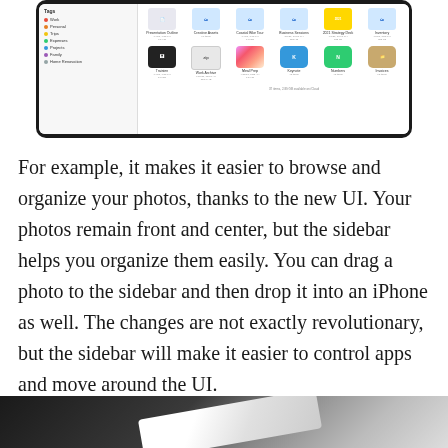[Figure (screenshot): Screenshot of an iPad running iPadOS Files app showing a sidebar with Tags (Work, Personal, Trips, Expenses, Projects, Family, Home Renovation) and a main area with file icons including Presentation Outline, Creative Assets, Coastal Bike Tour, Business Sessions, 2021 Strategy Deck, Inventory, Home Improvements, Trainien, Work Archive, Meal Prep, Keynote, Numbers, Invoices]
For example, it makes it easier to browse and organize your photos, thanks to the new UI. Your photos remain front and center, but the sidebar helps you organize them easily. You can drag a photo to the sidebar and then drop it into an iPhone as well. The changes are not exactly revolutionary, but the sidebar will make it easier to control apps and move around the UI.
[Figure (photo): Partial bottom photo showing what appears to be a dark background with a white document or paper visible]